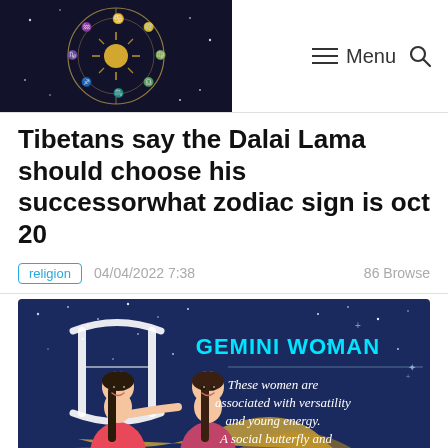Menu [Search]
Tibetans say the Dalai Lama should choose his successorwhat zodiac sign is oct 20
religion   04/04/2022 7:38   86 Browse
[Figure (illustration): Gemini Woman illustration with two cartoon women in red/pink dresses against a dark blue starry background. Text reads: GEMINI WOMAN - These women are associated with versatility and young energy. A social butterfly and can make friends with]